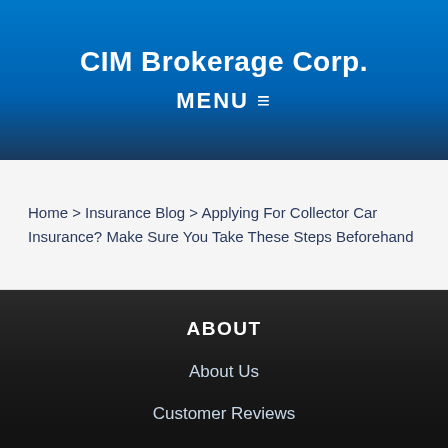CIM Brokerage Corp.
MENU ≡
Home > Insurance Blog > Applying For Collector Car Insurance? Make Sure You Take These Steps Beforehand
ABOUT
About Us
Customer Reviews